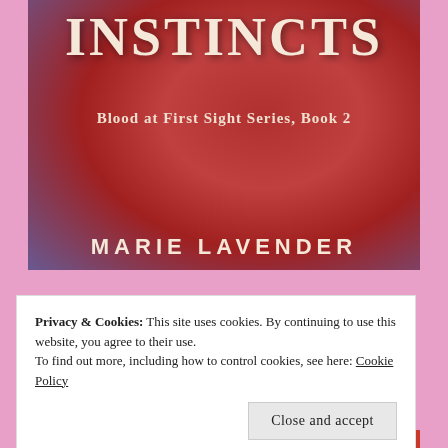[Figure (illustration): Book cover for 'Instincts' — Blood at First Sight Series, Book 2 by Marie Lavender. Dark red/crimson background with dramatic figure. Decorative serif title text 'INSTINCTS' at top, subtitle 'Blood at First Sight Series, Book 2' in middle, author name 'MARIE LAVENDER' near bottom.]
Privacy & Cookies: This site uses cookies. By continuing to use this website, you agree to their use.
To find out more, including how to control cookies, see here: Cookie Policy
Close and accept